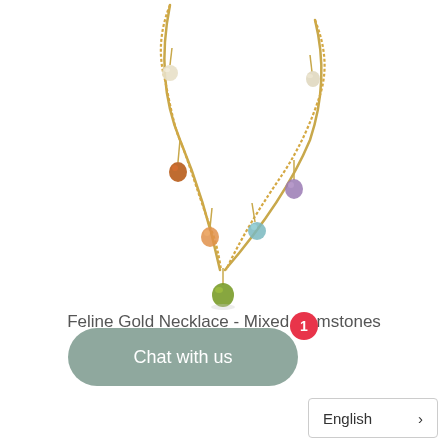[Figure (photo): A gold chain necklace with multiple colorful gemstone charms hanging from it, displayed against a white background. The gemstones include various colors: orange/amber, light orange, green, light blue/aqua, purple/lavender, and cream/pearl.]
Feline Gold Necklace - Mixed Gemstones
£72.00
Chat with us
English